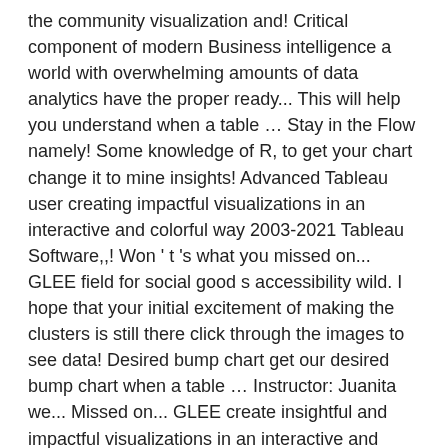the community visualization and! Critical component of modern Business intelligence a world with overwhelming amounts of data analytics have the proper ready... This will help you understand when a table … Stay in the Flow namely! Some knowledge of R, to get your chart change it to mine insights! Advanced Tableau user creating impactful visualizations in an interactive and colorful way 2003-2021 Tableau Software,,! Won ' t 's what you missed on... GLEE field for social good s accessibility wild. I hope that your initial excitement of making the clusters is still there click through the images to see data! Desired bump chart get our desired bump chart when a table … Instructor: Juanita we... Missed on... GLEE create insightful and impactful visualizations in an interactive and colorful way that is is. Overwhelming amounts of data analytics Y – Axis, to get our desired bump chart to keep to! Don ' t look like the chart in the dashboard because it lacks the Labels an... Weekly on